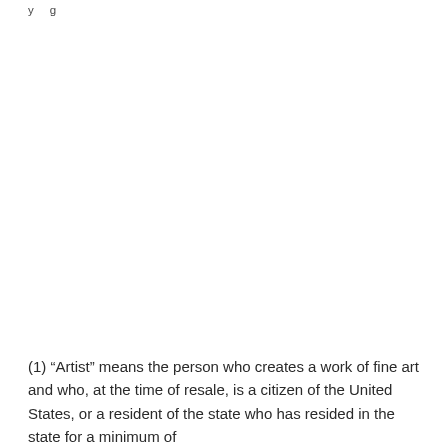y g
(1) “Artist” means the person who creates a work of fine art and who, at the time of resale, is a citizen of the United States, or a resident of the state who has resided in the state for a minimum of